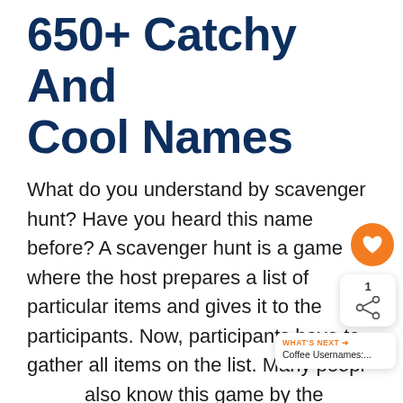650+ Catchy And Cool Names
What do you understand by scavenger hunt? Have you heard this name before? A scavenger hunt is a game where the host prepares a list of particular items and gives it to the participants. Now, participants have to gather all items on the list. Many people also know this game by the name treasure hunt. Both games are quite similar, but not the same.